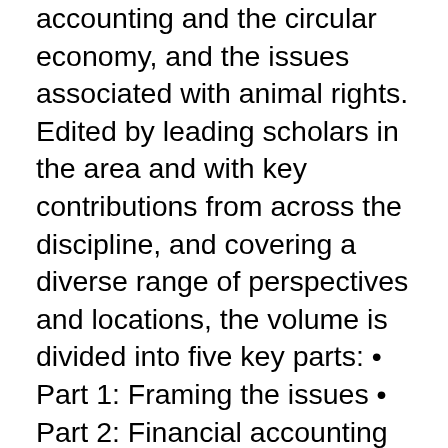accounting and the circular economy, and the issues associated with animal rights. Edited by leading scholars in the area and with key contributions from across the discipline, and covering a diverse range of perspectives and locations, the volume is divided into five key parts: • Part 1: Framing the issues • Part 2: Financial accounting and reporting • Part 3: Management accounting • Part 4: Global and local perspectives • Part 5: Thematic topics in environmental accounting This handbook will act as a significant publication in drawing together the history of the field and important reference points in its future development, and will serve as a vital resource for students and scholars of environmental accounting and